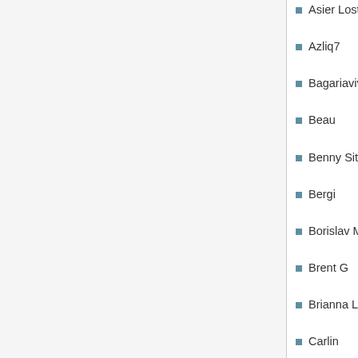Asier Lostalé
Azliq7
Bagariavivek
Beau
Benny Situ
Bergi
Borislav Manolov
Brent G
Brianna Laugher
Carlin
Carsten Nielsen
Christian Aistleitner
Christian Neubauer
Conrad Irwin
cryptocoryne
Dan Barrett
Dan Collins
Dan Nessett
Daniel Arnold
Daniel Werner
David Baumgarten
Denny Vrandecic